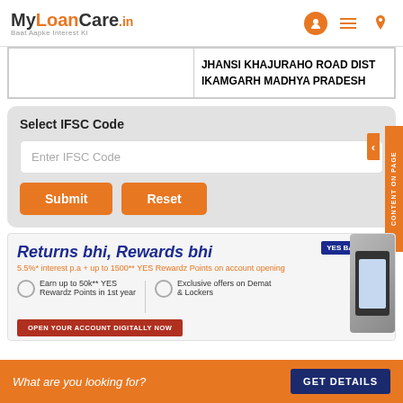MyLoanCare.in Baat Aapke Interest Ki
|  | JHANSI KHAJURAHO ROAD DIST IKAMGARH MADHYA PRADESH |
Select IFSC Code
Enter IFSC Code
Submit | Reset
[Figure (screenshot): CONTENT ON PAGE tab on right side]
Returns bhi, Rewards bhi
5.5%* interest p.a + up to 1500** YES Rewardz Points on account opening
Earn up to 50k** YES Rewardz Points in 1st year
Exclusive offers on Demat & Lockers
What are you looking for? GET DETAILS